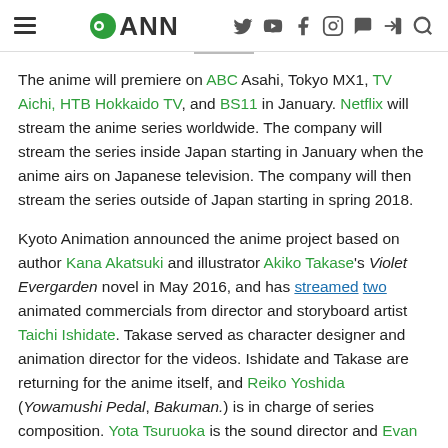ANN (Anime News Network) website header with navigation icons
The anime will premiere on ABC Asahi, Tokyo MX1, TV Aichi, HTB Hokkaido TV, and BS11 in January. Netflix will stream the anime series worldwide. The company will stream the series inside Japan starting in January when the anime airs on Japanese television. The company will then stream the series outside of Japan starting in spring 2018.
Kyoto Animation announced the anime project based on author Kana Akatsuki and illustrator Akiko Takase's Violet Evergarden novel in May 2016, and has streamed two animated commercials from director and storyboard artist Taichi Ishidate. Takase served as character designer and animation director for the videos. Ishidate and Takase are returning for the anime itself, and Reiko Yoshida (Yowamushi Pedal, Bakuman.) is in charge of series composition. Yota Tsuruoka is the sound director and Evan